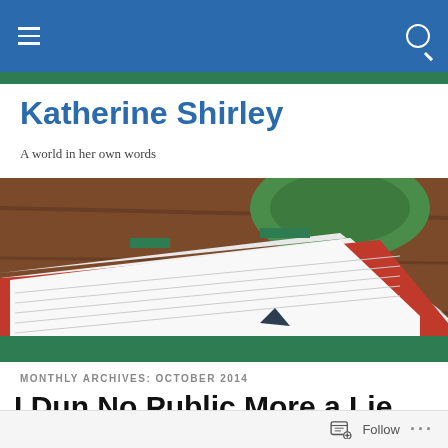Navigation bar with hamburger menu and search icon
Katherine Shirley
A world in her own words
[Figure (photo): Overhead photo of a lined notebook with red cover, green bookmark tabs, and a green mug on a wooden table]
MONTHLY ARCHIVES: OCTOBER 2014
I Dun No Public More a Lie Tee
Follow ...